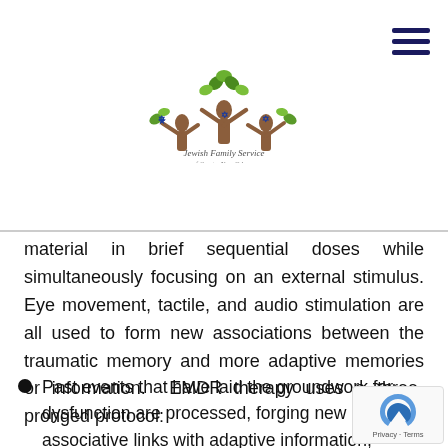[Figure (logo): Jewish Family Service logo with stylized tree figures and text 'Jewish Family Service of Greater New Orleans']
material in brief sequential doses while simultaneously focusing on an external stimulus. Eye movement, tactile, and audio stimulation are all used to form new associations between the traumatic memory and more adaptive memories or information.  EMDR therapy uses a three-pronged protocol:
Past events that have laid the groundwork for dysfunction are processed, forging new associative links with adaptive information,
Current circumstances that trigger anxiety, dep... or other unwanted emotional responses are ta...
Imaginal templates of future events are incorporated